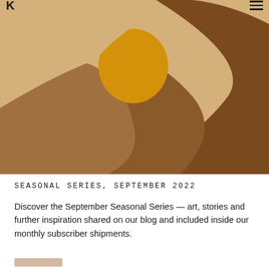K ≡
[Figure (illustration): Abstract earth-tone illustration with organic shapes: sandy beige background with curved forms in golden yellow, warm brown, and dark chocolate brown. A golden ellipse/sun shape in the upper center area, large rounded forms suggesting hills or dunes.]
SEASONAL SERIES, SEPTEMBER 2022
Discover the September Seasonal Series — art, stories and further inspiration shared on our blog and included inside our monthly subscriber shipments.